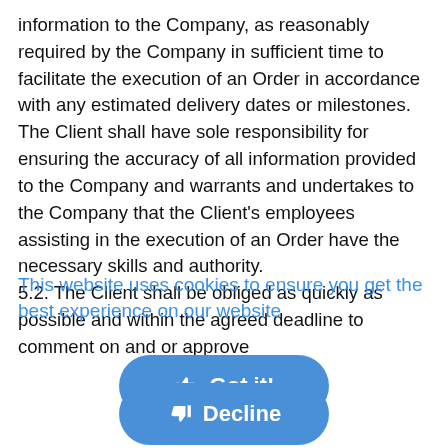information to the Company, as reasonably required by the Company in sufficient time to facilitate the execution of an Order in accordance with any estimated delivery dates or milestones. The Client shall have sole responsibility for ensuring the accuracy of all information provided to the Company and warrants and undertakes to the Company that the Client's employees assisting in the execution of an Order have the necessary skills and authority.
5.2. The Client shall be obliged as quickly as possible and within the agreed deadline to comment on and or approve
This website uses cookies to ensure you get the best experience on our website
[Figure (other): Blue rounded button with thumbs-up icon and text 'Got it!']
[Figure (other): Blue rounded button with thumbs-down icon and text 'Decline']